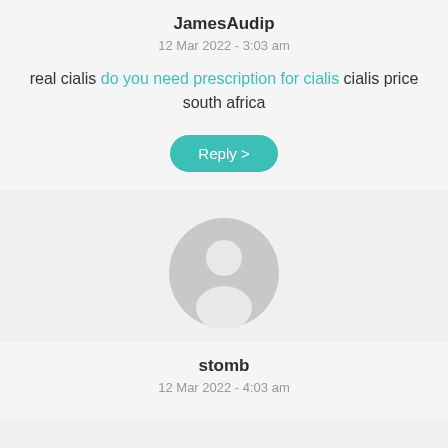JamesAudip
12 Mar 2022 - 3:03 am
real cialis do you need prescription for cialis cialis price south africa
Reply >
[Figure (illustration): Generic user avatar icon — circular grey silhouette of a person]
stomb
12 Mar 2022 - 4:03 am